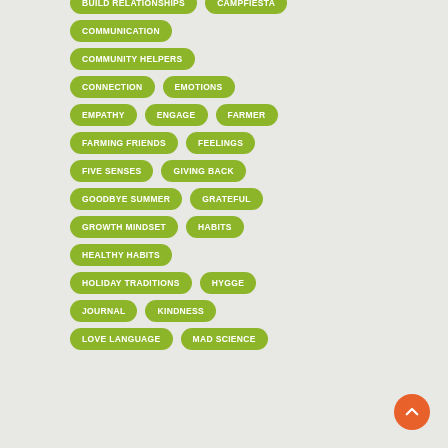BUILD RELATIONSHIPS
CAMPFIESTA
COMMUNICATION
COMMUNITY HELPERS
CONNECTION
EMOTIONS
EMPATHY
ENGAGE
FARMER
FARMING FRIENDS
FEELINGS
FIVE SENSES
GIVING BACK
GOODBYE SUMMER
GRATEFUL
GROWTH MINDSET
HABITS
HEALTHY HABITS
HOLIDAY TRADITIONS
HYGGE
JOURNAL
KINDNESS
LOVE LANGUAGE
MAD SCIENCE